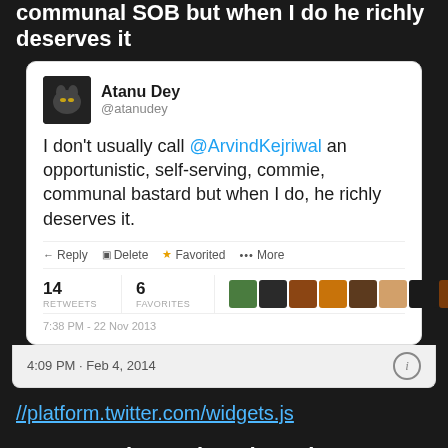communal SOB but when I do he richly deserves it
[Figure (screenshot): Screenshot of a tweet by Atanu Dey (@atanudey): 'I don't usually call @ArvindKejriwal an opportunistic, self-serving, commie, communal bastard but when I do, he richly deserves it.' with 14 retweets and 6 favorites, timestamp 7:38 PM - 22 Nov 2013]
4:09 PM · Feb 4, 2014
//platform.twitter.com/widgets.js
I am sure that I misunderestimate (thanks GWBush) Kejriwal's depravity. More here...